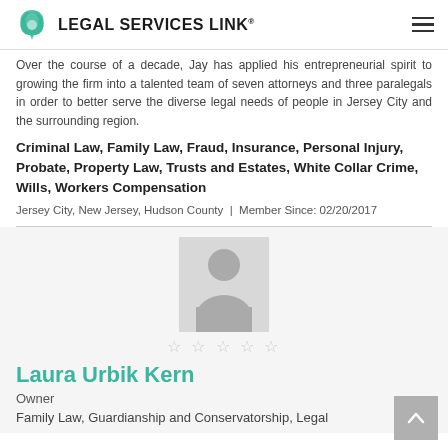LEGAL SERVICES LINK®
Over the course of a decade, Jay has applied his entrepreneurial spirit to growing the firm into a talented team of seven attorneys and three paralegals in order to better serve the diverse legal needs of people in Jersey City and the surrounding region.
Criminal Law, Family Law, Fraud, Insurance, Personal Injury, Probate, Property Law, Trusts and Estates, White Collar Crime, Wills, Workers Compensation
Jersey City, New Jersey, Hudson County | Member Since: 02/20/2017
[Figure (photo): Generic profile silhouette placeholder image for Laura Urbik Kern]
☆ ☆ ☆ ☆ ☆
Laura Urbik Kern
Owner
Family Law, Guardianship and Conservatorship, Legal